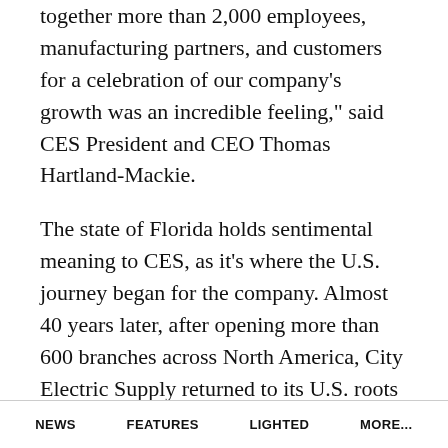together more than 2,000 employees, manufacturing partners, and customers for a celebration of our company’s growth was an incredible feeling,” said CES President and CEO Thomas Hartland-Mackie.
The state of Florida holds sentimental meaning to CES, as it’s where the U.S. journey began for the company. Almost 40 years later, after opening more than 600 branches across North America, City Electric Supply returned to its U.S. roots to hold CES Connect in Orlando. With 103 locations in Florida, the company was thrilled to bring the conference just an hour and a half away from
NEWS   FEATURES   LIGHTED   MORE...